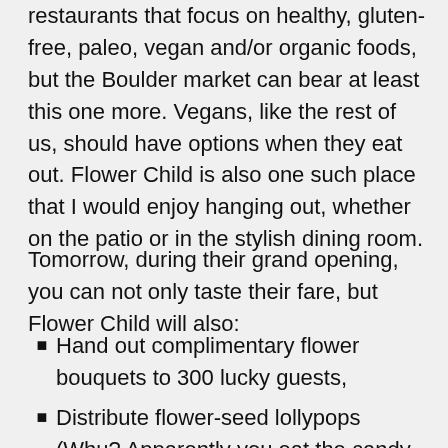restaurants that focus on healthy, gluten-free, paleo, vegan and/or organic foods, but the Boulder market can bear at least this one more. Vegans, like the rest of us, should have options when they eat out. Flower Child is also one such place that I would enjoy hanging out, whether on the patio or in the stylish dining room.
Tomorrow, during their grand opening, you can not only taste their fare, but Flower Child will also:
Hand out complimentary flower bouquets to 300 lucky guests,
Distribute flower-seed lollypops (Whu? Apparently you eat the candy then plant the stick, which contains mystery seeds, either a flower or an herb),
And enjoy samples of the Rowdy Mermaid